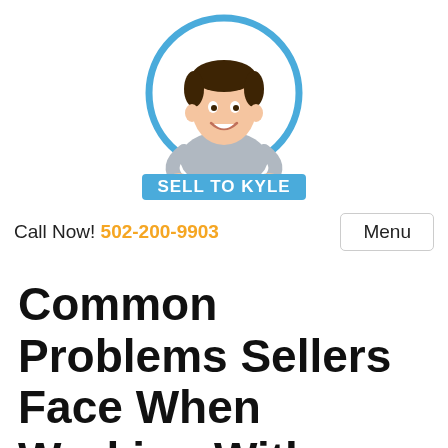[Figure (logo): Sell To Kyle logo: cartoon man in a blue circle with 'SELL TO KYLE' text below in blue/white block letters]
Call Now! 502-200-9903   Menu
Common Problems Sellers Face When Working With Louisville Real Estate Agents